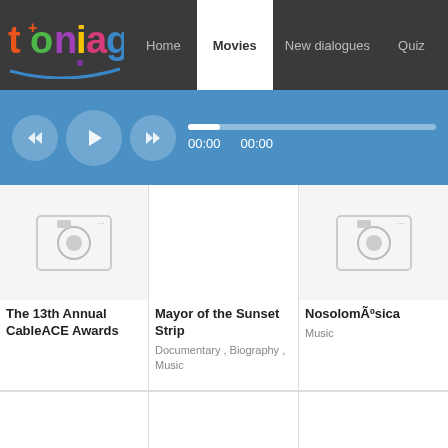[Figure (screenshot): Toniag website navigation bar with logo and menu items: Home, Movies (active), New dialogues, Quiz]
[Figure (screenshot): Audio player bar with rewind, play, fast-forward buttons and progress bar showing 00:00 / 00:00]
[Figure (screenshot): Movie card with placeholder image for 'The 13th Annual CableACE Awards']
The 13th Annual CableACE Awards
[Figure (screenshot): Movie card with placeholder for 'Mayor of the Sunset Strip' - Documentary, Biography, Music]
Mayor of the Sunset Strip
Documentary , Biography , Music
[Figure (screenshot): Movie card with placeholder image for 'NosolomÃºsica' - Music]
NosolomÃºsica
Music